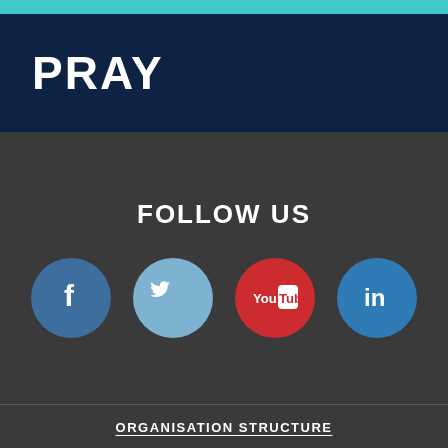PRAY
FOLLOW US
[Figure (infographic): Four social media icon circles: Facebook (dark blue), Twitter (light blue), YouTube (red), LinkedIn (blue)]
ORGANISATION STRUCTURE